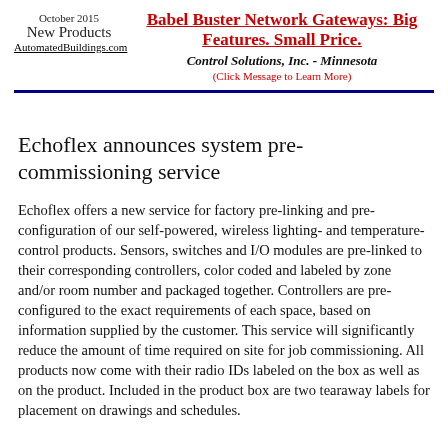October 2015
New Products
AutomatedBuildings.com
Babel Buster Network Gateways: Big Features. Small Price.
Control Solutions, Inc. - Minnesota
(Click Message to Learn More)
Echoflex announces system pre-commissioning service
Echoflex offers a new service for factory pre-linking and pre-configuration of our self-powered, wireless lighting- and temperature-control products. Sensors, switches and I/O modules are pre-linked to their corresponding controllers, color coded and labeled by zone and/or room number and packaged together. Controllers are pre-configured to the exact requirements of each space, based on information supplied by the customer. This service will significantly reduce the amount of time required on site for job commissioning. All products now come with their radio IDs labeled on the box as well as on the product. Included in the product box are two tearaway labels for placement on drawings and schedules.